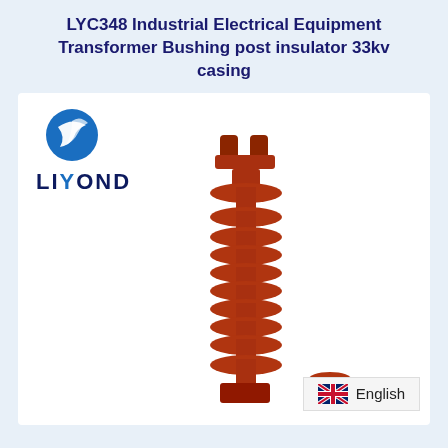LYC348 Industrial Electrical Equipment Transformer Bushing post insulator 33kv casing
[Figure (photo): Product photo of a red ceramic/epoxy post insulator with ribbed sheds and a forked top connector, branded with LIYOND logo. A second smaller insulator component is visible at the bottom right. An English language badge appears in the bottom right corner.]